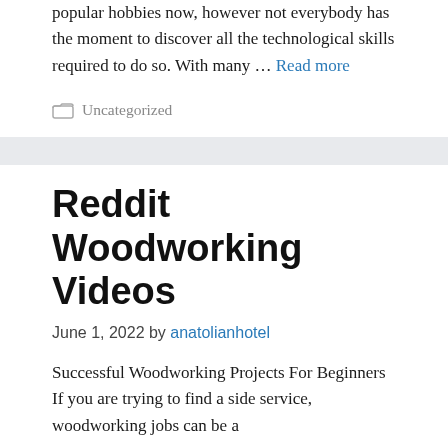popular hobbies now, however not everybody has the moment to discover all the technological skills required to do so. With many … Read more
Uncategorized
Reddit Woodworking Videos
June 1, 2022 by anatolianhotel
Successful Woodworking Projects For Beginners If you are trying to find a side service, woodworking jobs can be a